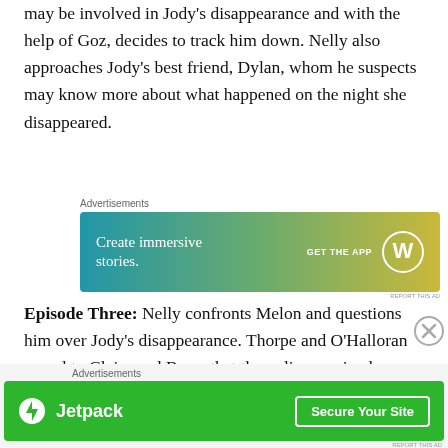may be involved in Jody's disappearance and with the help of Goz, decides to track him down. Nelly also approaches Jody's best friend, Dylan, whom he suspects may know more about what happened on the night she disappeared.
[Figure (screenshot): WordPress advertisement banner: 'Create immersive stories. GET THE APP' with WordPress logo on gradient blue-green-yellow background]
Episode Three: Nelly confronts Melon and questions him over Jody's disappearance. Thorpe and O'Halloran reveal to Claire and Barry that the police received a
[Figure (screenshot): Jetpack advertisement banner: Jetpack logo and text 'Jetpack' with 'Secure Your Site' button on green background]